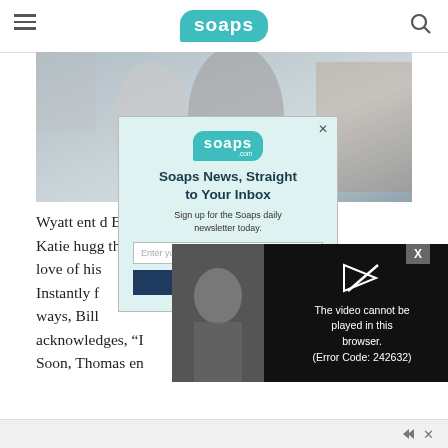soaps (logo header with hamburger menu and search icon)
[Figure (photo): Two people hugging, shown from behind/side in muted blue-gray tones]
Wyatt ent... d Bill and Katie hugg... the love of his... Instantly f... ways, Bill a... acknowledges, "I... Soon, Thomas en...
[Figure (screenshot): Newsletter signup popup for Soaps.com with title 'Soaps News, Straight to Your Inbox', subtitle 'Sign up for the Soaps daily newsletter today.', email input field, and subscribe button]
[Figure (screenshot): Video player error overlay showing 'The video cannot be played in this browser. (Error Code: 242632)']
Ad bar with close controls